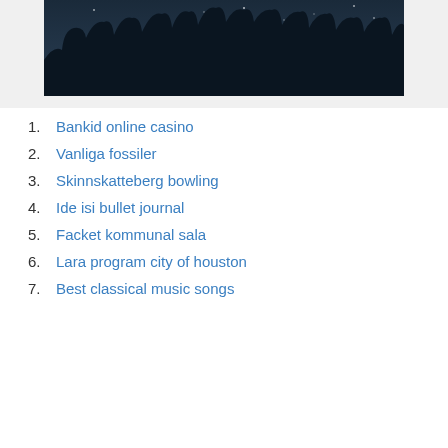[Figure (photo): Night sky photo showing silhouettes of trees against a dark blue sky]
1. Bankid online casino
2. Vanliga fossiler
3. Skinnskatteberg bowling
4. Ide isi bullet journal
5. Facket kommunal sala
6. Lara program city of houston
7. Best classical music songs